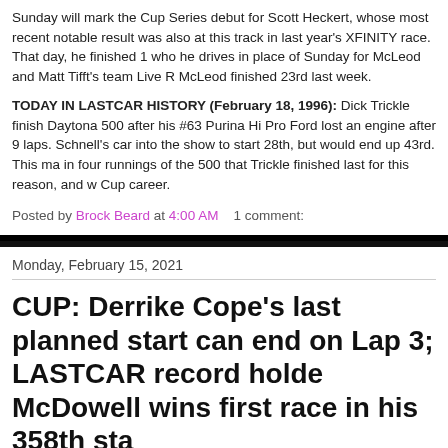Sunday will mark the Cup Series debut for Scott Heckert, whose most recent notable result was also at this track in last year's XFINITY race. That day, he finished 1... who he drives in place of Sunday for McLeod and Matt Tifft's team Live R... McLeod finished 23rd last week.
TODAY IN LASTCAR HISTORY (February 18, 1996): Dick Trickle finished last in the Daytona 500 after his #63 Purina Hi Pro Ford lost an engine after 9 laps. Schnell's car into the show to start 28th, but would end up 43rd. This ma... in four runnings of the 500 that Trickle finished last for this reason, and w... Cup career.
Posted by Brock Beard at 4:00 AM    1 comment:
Monday, February 15, 2021
CUP: Derrike Cope's last planned start came to an end on Lap 3; LASTCAR record holder McDowell wins first race in his 358th start
[Figure (photo): Partial photo of a racetrack surface showing tire marks or track texture, cropped at bottom of page]